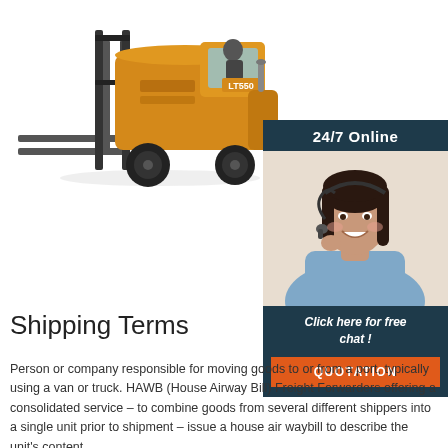[Figure (photo): A yellow LT550 forklift truck with forks extended forward, black tires, and a driver visible in the cab. The forklift is shown against a white background.]
[Figure (photo): A smiling female customer service agent with dark hair wearing a headset and blue shirt, shown against a light background. Above her is a dark navy header reading '24/7 Online'. Below the image is text 'Click here for free chat!' and an orange button reading 'QUOTATION'.]
Shipping Terms
Person or company responsible for moving goods to or from a port, typically using a van or truck. HAWB (House Airway Bill) Freight Forwarders offering a consolidated service – to combine goods from several different shippers into a single unit prior to shipment – issue a house air waybill to describe the unit's content.